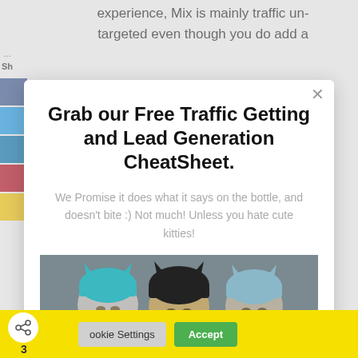experience, Mix is mainly traffic un-targeted even though you do add a
Grab our Free Traffic Getting and Lead Generation CheatSheet.
We Promise it does what it says on the bottle, and doesn't bite :) Not much! Unless you hate cute kitties!
[Figure (photo): Three cats wearing knitted hats/hoods, sitting together. Photo with ManyChat branding badge.]
Cookie Settings   Accept
3